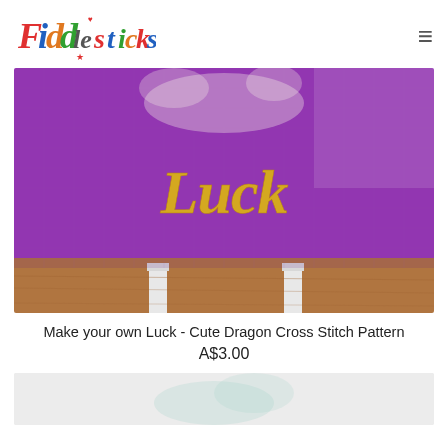Fiddlesticks [logo]
[Figure (photo): A purple cross-stitch canvas on a white easel stand placed on a wooden table. The canvas shows cross-stitched text reading 'Luck' in gold/yellow thread, and a partially visible dragon figure stitched in white above it.]
Make your own Luck - Cute Dragon Cross Stitch Pattern
A$3.00
[Figure (photo): Bottom partial view of another product photo, showing white/teal cross-stitch embroidery on a light background.]